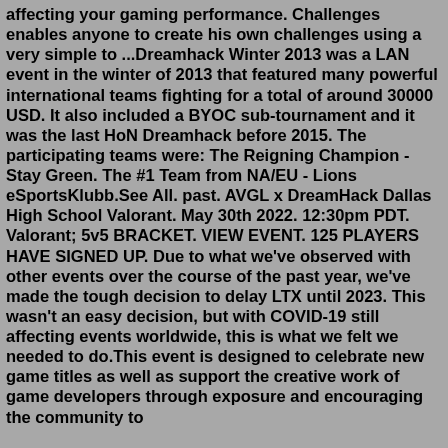affecting your gaming performance. Challenges enables anyone to create his own challenges using a very simple to ...Dreamhack Winter 2013 was a LAN event in the winter of 2013 that featured many powerful international teams fighting for a total of around 30000 USD. It also included a BYOC sub-tournament and it was the last HoN Dreamhack before 2015. The participating teams were: The Reigning Champion - Stay Green. The #1 Team from NA/EU - Lions eSportsKlubb.See All. past. AVGL x DreamHack Dallas High School Valorant. May 30th 2022. 12:30pm PDT. Valorant; 5v5 BRACKET. VIEW EVENT. 125 PLAYERS HAVE SIGNED UP. Due to what we've observed with other events over the course of the past year, we've made the tough decision to delay LTX until 2023. This wasn't an easy decision, but with COVID-19 still affecting events worldwide, this is what we felt we needed to do.This event is designed to celebrate new game titles as well as support the creative work of game developers through exposure and encouraging the community to